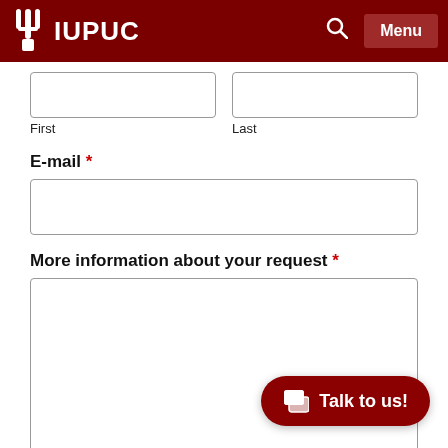IUPUC
First
Last
E-mail *
More information about your request *
[Figure (screenshot): Talk to us chat button in dark red rounded rectangle]